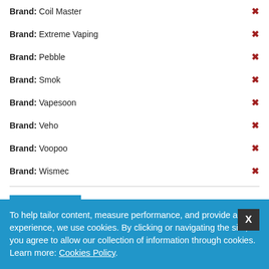Brand: Coil Master ✕
Brand: Extreme Vaping ✕
Brand: Pebble ✕
Brand: Smok ✕
Brand: Vapesoon ✕
Brand: Veho ✕
Brand: Voopoo ✕
Brand: Wismec ✕
CLEAR ALL
FEATURED PRODUCTS
To help tailor content, measure performance, and provide a safer experience, we use cookies. By clicking or navigating the site, you agree to allow our collection of information through cookies. Learn more: Cookies Policy.